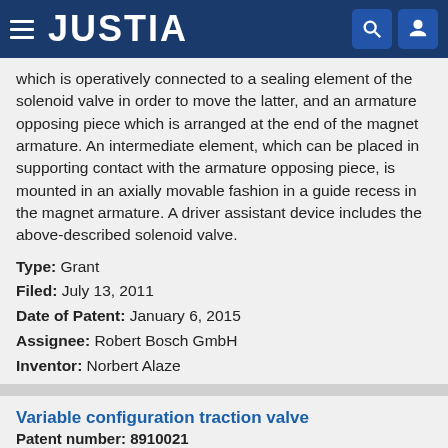JUSTIA
which is operatively connected to a sealing element of the solenoid valve in order to move the latter, and an armature opposing piece which is arranged at the end of the magnet armature. An intermediate element, which can be placed in supporting contact with the armature opposing piece, is mounted in an axially movable fashion in a guide recess in the magnet armature. A driver assistant device includes the above-described solenoid valve.
Type: Grant
Filed: July 13, 2011
Date of Patent: January 6, 2015
Assignee: Robert Bosch GmbH
Inventor: Norbert Alaze
Variable configuration traction valve
Patent number: 8910021